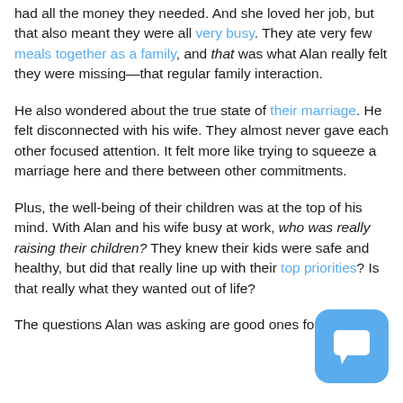had all the money they needed. And she loved her job, but that also meant they were all very busy. They ate very few meals together as a family, and that was what Alan really felt they were missing—that regular family interaction.
He also wondered about the true state of their marriage. He felt disconnected with his wife. They almost never gave each other focused attention. It felt more like trying to squeeze a marriage here and there between other commitments.
Plus, the well-being of their children was at the top of his mind. With Alan and his wife busy at work, who was really raising their children? They knew their kids were safe and healthy, but did that really line up with their top priorities? Is that really what they wanted out of life?
The questions Alan was asking are good ones fo...
[Figure (illustration): Blue rounded square chat/message icon with white speech bubble symbol, positioned in bottom-right corner]